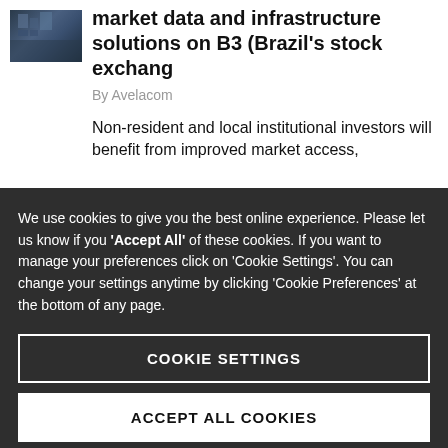[Figure (photo): Thumbnail image of a building exterior, likely a financial exchange building, shown in dark tones.]
market data and infrastructure solutions on B3 (Brazil's stock exchang
By Avelacom
Non-resident and local institutional investors will benefit from improved market access,
We use cookies to give you the best online experience. Please let us know if you 'Accept All' of these cookies. If you want to manage your preferences click on 'Cookie Settings'. You can change your settings anytime by clicking 'Cookie Preferences' at the bottom of any page.
COOKIE SETTINGS
ACCEPT ALL COOKIES